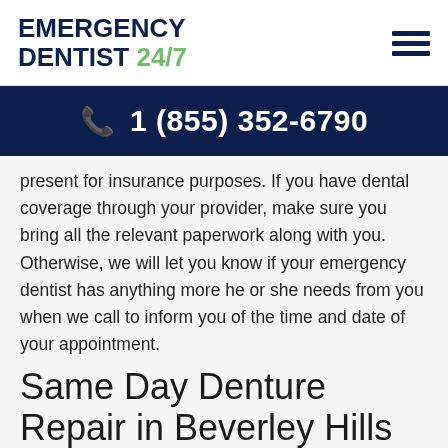EMERGENCY DENTIST 24/7
1 (855) 352-6790
present for insurance purposes. If you have dental coverage through your provider, make sure you bring all the relevant paperwork along with you. Otherwise, we will let you know if your emergency dentist has anything more he or she needs from you when we call to inform you of the time and date of your appointment.
Same Day Denture Repair in Beverley Hills
Having immediate access to same day denture repair in Beverley Hills, including emergency denture repair Beverley Hills, is now available to all patients! Thanks to